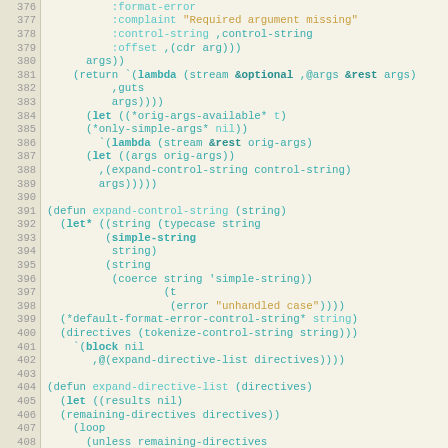[Figure (screenshot): Source code listing showing Lisp/Common Lisp code with line numbers 376-408, displaying functions expand-control-string and expand-directive-list with syntax highlighting]